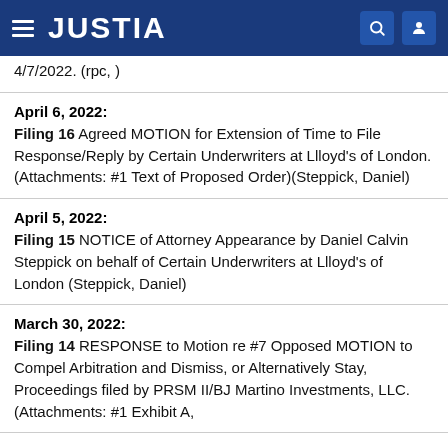JUSTIA
4/7/2022. (rpc, )
April 6, 2022: Filing 16 Agreed MOTION for Extension of Time to File Response/Reply by Certain Underwriters at Llloyd's of London. (Attachments: #1 Text of Proposed Order)(Steppick, Daniel)
April 5, 2022: Filing 15 NOTICE of Attorney Appearance by Daniel Calvin Steppick on behalf of Certain Underwriters at Llloyd's of London (Steppick, Daniel)
March 30, 2022: Filing 14 RESPONSE to Motion re #7 Opposed MOTION to Compel Arbitration and Dismiss, or Alternatively Stay, Proceedings filed by PRSM II/BJ Martino Investments, LLC. (Attachments: #1 Exhibit A,